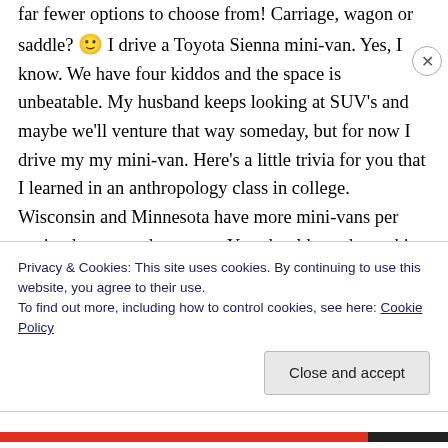far fewer options to choose from! Carriage, wagon or saddle? 🙂 I drive a Toyota Sienna mini-van. Yes, I know. We have four kiddos and the space is unbeatable. My husband keeps looking at SUV's and maybe we'll venture that way someday, but for now I drive my my mini-van. Here's a little trivia for you that I learned in an anthropology class in college. Wisconsin and Minnesota have more mini-vans per capita than any other states. You should see the parking lot of our church on a MOPS Tuesday – it's comical
Privacy & Cookies: This site uses cookies. By continuing to use this website, you agree to their use.
To find out more, including how to control cookies, see here: Cookie Policy
Close and accept